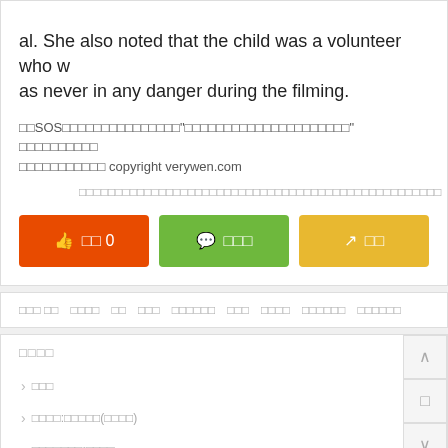al. She also noted that the child was a volunteer who was never in any danger during the filming.
□□SOS□□□□□□□□□□□□□□□"□□□□□□□□□□□□□□□□□□□□□" □□□□□□□□□□□□□□□□□□□□□□ copyright verywen.com
□□□□□□□□□□□□□□□□□□□□□□□□□□□□□□□□□□□□□□□□□□□□□□□□□□
[Figure (other): Three action buttons: orange like button showing count 0, green comment button, yellow share button]
□□□ □□  □□□□ □□  □□□  □□□□□□  □□□  □□□□  □□□□□□  □□□□□□
□□□□
□□□
□□□□:□□□□□(□□□□)
□□□□□□□:□□□□
□□□□□□□□□□□□
□□□□□□□□□□□□:□□□□□□□□□